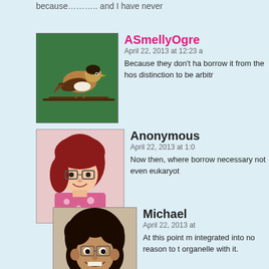because……….. and I have never
ASmellyOgre
April 22, 2013 at 12:23 a
Because they don't ha borrow it from the hos distinction to be arbitr
Anonymous
April 22, 2013 at 1:0
Now then, where borrow necessary not even eukaryot
Michael
April 22, 2013 at
At this point m integrated into no reason to t organelle with it.